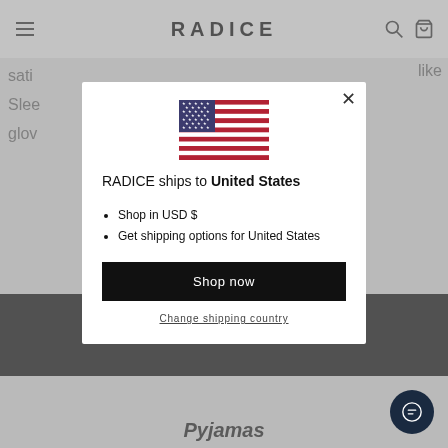RADICE
satin ... like Sleep ... glov ...
[Figure (screenshot): Modal dialog overlay on RADICE e-commerce website showing US flag, shipping country selection for United States]
RADICE ships to United States
Shop in USD $
Get shipping options for United States
Shop now
Change shipping country
Pyjamas